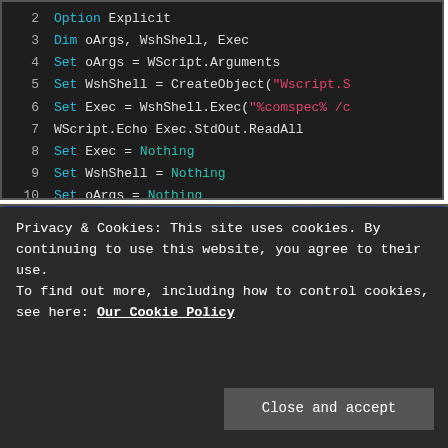[Figure (screenshot): Code block showing VBScript lines 2-10 with syntax highlighting on dark background. Keywords in cyan/blue, string literals in pink/red, Nothing keyword in teal.]
[Figure (screenshot): Windows Create Task Wizard dialog showing 'Select a Task Type' screen with sidebar navigation (Task Type, General Properties, Script) and main area showing a tree with Agent Tasks > Command line, Run a script.]
Privacy & Cookies: This site uses cookies. By continuing to use this website, you agree to their use.
To find out more, including how to control cookies, see here: Our Cookie Policy